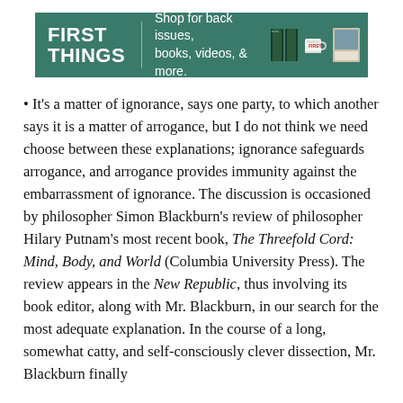[Figure (other): First Things advertisement banner: green background with 'FIRST THINGS' text in white, 'Shop for back issues, books, videos, & more.' text, and images of books, a mug, and a photo]
• It's a matter of ignorance, says one party, to which another says it is a matter of arrogance, but I do not think we need choose between these explanations; ignorance safeguards arrogance, and arrogance provides immunity against the embarrassment of ignorance. The discussion is occasioned by philosopher Simon Blackburn's review of philosopher Hilary Putnam's most recent book, The Threefold Cord: Mind, Body, and World (Columbia University Press). The review appears in the New Republic, thus involving its book editor, along with Mr. Blackburn, in our search for the most adequate explanation. In the course of a long, somewhat catty, and self-consciously clever dissection, Mr. Blackburn finally